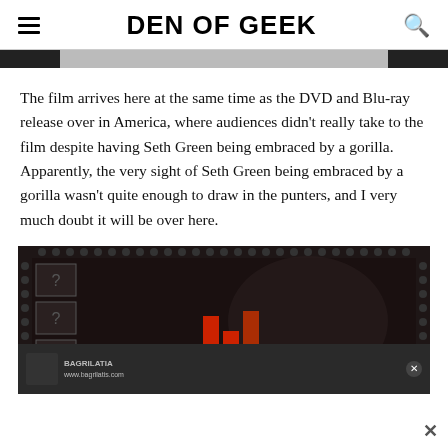DEN OF GEEK
[Figure (screenshot): Dark advertisement or navigation bar with black and gray sections]
The film arrives here at the same time as the DVD and Blu-ray release over in America, where audiences didn't really take to the film despite having Seth Green being embraced by a gorilla. Apparently, the very sight of Seth Green being embraced by a gorilla wasn't quite enough to draw in the punters, and I very much doubt it will be over here.
[Figure (screenshot): Dark movie promotional image with question mark boxes on the left side and a face with glasses dimly visible, red geometric logo shapes in the center reading BAGRILATIA, www.bagrilatis.com]